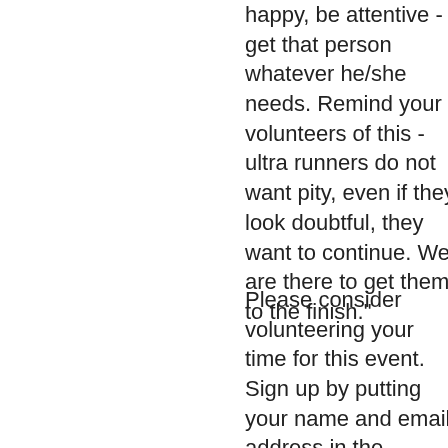happy, be attentive - get that person whatever he/she needs. Remind your volunteers of this - ultra runners do not want pity, even if they look doubtful, they want to continue. We are there to get them to the finish."
Please consider volunteering your time for this event.  Sign up by putting your name and email address in the google spreadsheet provided in this